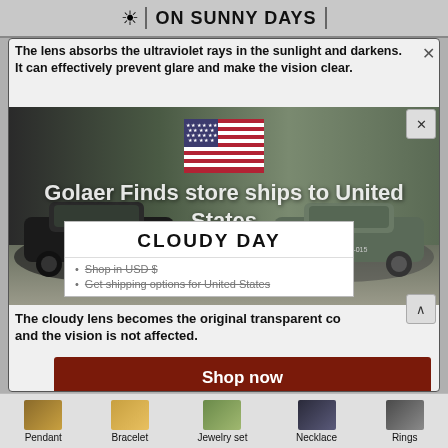ON SUNNY DAYS
The lens absorbs the ultraviolet rays in the sunlight and darkens. It can effectively prevent glare and make the vision clear.
[Figure (photo): Two cars driving on a road, viewed through a lens/glasses frame, with US flag overlay and Golaer Finds store ships to United States overlay text]
CLOUDY DAY
Shop in USD $
Get shipping options for United States
The cloudy lens becomes the original transparent color and the vision is not affected.
Shop now
ADD TO CART
Change shipping country
[Figure (illustration): Bottom navigation thumbnails: Pendant, Bracelet, Jewelry set, Necklace, Rings]